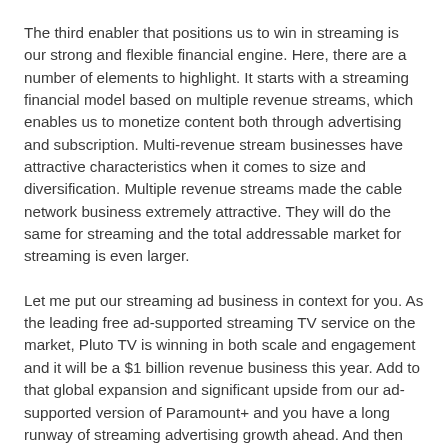The third enabler that positions us to win in streaming is our strong and flexible financial engine. Here, there are a number of elements to highlight. It starts with a streaming financial model based on multiple revenue streams, which enables us to monetize content both through advertising and subscription. Multi-revenue stream businesses have attractive characteristics when it comes to size and diversification. Multiple revenue streams made the cable network business extremely attractive. They will do the same for streaming and the total addressable market for streaming is even larger.
Let me put our streaming ad business in context for you. As the leading free ad-supported streaming TV service on the market, Pluto TV is winning in both scale and engagement and it will be a $1 billion revenue business this year. Add to that global expansion and significant upside from our ad-supported version of Paramount+ and you have a long runway of streaming advertising growth ahead. And then there is subscription. This is already a huge market. And while it's still early inning for us, our ViacomCBS business is